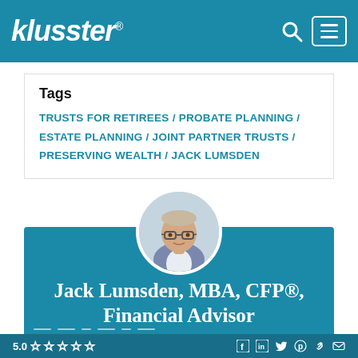klusster®
Tags
TRUSTS FOR RETIREES / PROBATE PLANNING / ESTATE PLANNING / JOINT PARTNER TRUSTS / PRESERVING WEALTH / JACK LUMSDEN
[Figure (photo): Circular profile photo of Jack Lumsden, a middle-aged man with glasses wearing a blue blazer]
Jack Lumsden, MBA, CFP®, Financial Advisor
5.0 ☆☆☆☆☆ [social icons: Facebook, LinkedIn, Twitter, Pinterest, Link, Email]